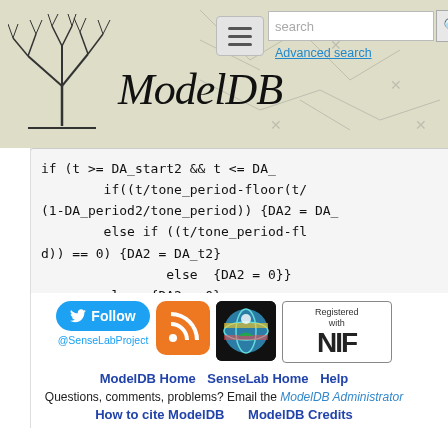ModelDB - header with logo, search bar, and site title
[Figure (screenshot): ModelDB website header with tree logo on left, ModelDB italic title in center, hamburger menu icon, search input field, and Advanced search link]
if (t >= DA_start2 && t <= DA_
        if((t/tone_period-floor(t/
(1-DA_period2/tone_period)) {DA2 = DA_
        else if ((t/tone_period-fl
d)) == 0) {DA2 = DA_t2}
                else  {DA2 = 0}}
        else  {DA2 = 0}
    }
[Figure (logo): Twitter Follow button (@SenseLabProject), RSS feed icon, SenseLab globe icon, NIF registered badge]
ModelDB Home  SenseLab Home  Help
Questions, comments, problems? Email the ModelDB Administrator
How to cite ModelDB     ModelDB Credits